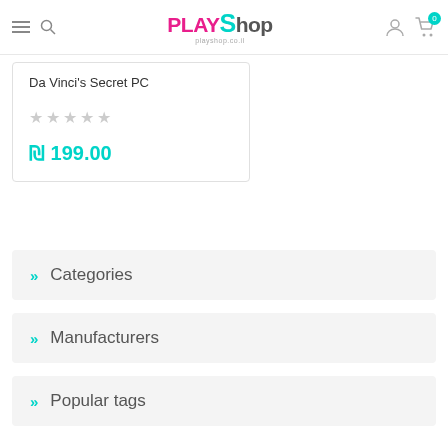PLAYShop playshop.co.il
Da Vinci's Secret PC
★★★★★ (empty stars rating)
₪ 199.00
» Categories
» Manufacturers
» Popular tags